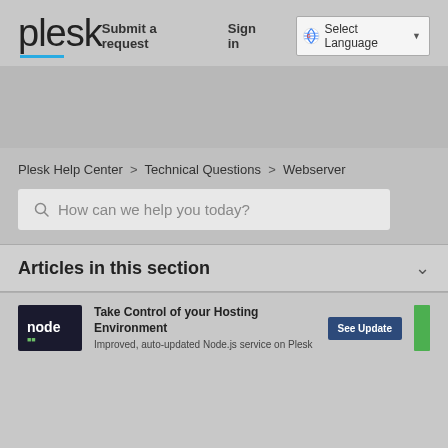plesk
Submit a request   Sign in   Select Language
Plesk Help Center > Technical Questions > Webserver
How can we help you today?
Articles in this section
Take Control of your Hosting Environment
Improved, auto-updated Node.js service on Plesk